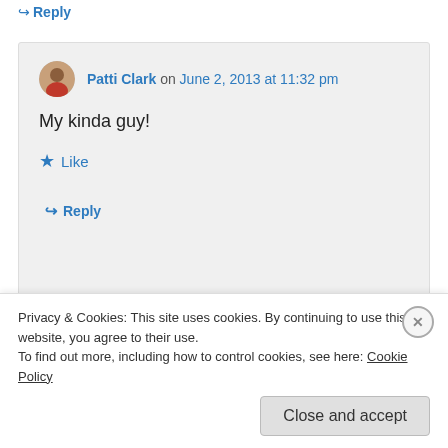↪ Reply
Patti Clark on June 2, 2013 at 11:32 pm
My kinda guy!
★ Like
↪ Reply
Patti Clark on June 2, 2013 at 11:37 pm
Privacy & Cookies: This site uses cookies. By continuing to use this website, you agree to their use. To find out more, including how to control cookies, see here: Cookie Policy
Close and accept